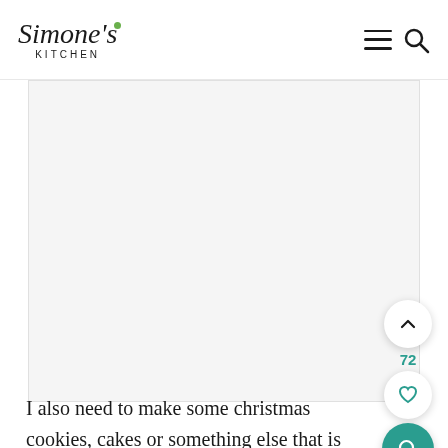Simone's Kitchen
[Figure (photo): Large image placeholder area (recipe photo, content not visible)]
I also need to make some christmas cookies, cakes or something else that is nice to serve with coffee or I saw a few lovely christmas cookies on various blogs which I might be trying out this week or